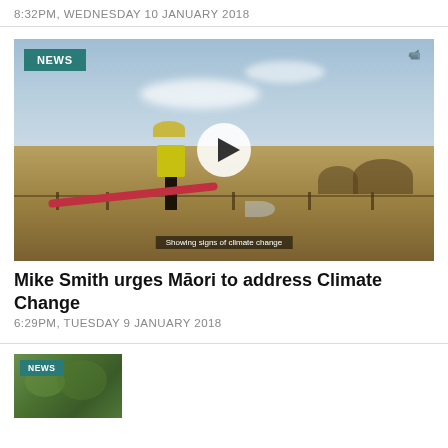8:32PM, WEDNESDAY 10 JANUARY 2018
[Figure (screenshot): Video thumbnail showing a person in a yellow jacket holding a red hose in a dry rural landscape with blue sky. NEWS badge in top left, play button in center.]
Mike Smith urges Māori to address Climate Change
6:29PM, TUESDAY 9 JANUARY 2018
[Figure (screenshot): Partial thumbnail of a second news article, showing green foliage. NEWS badge visible.]